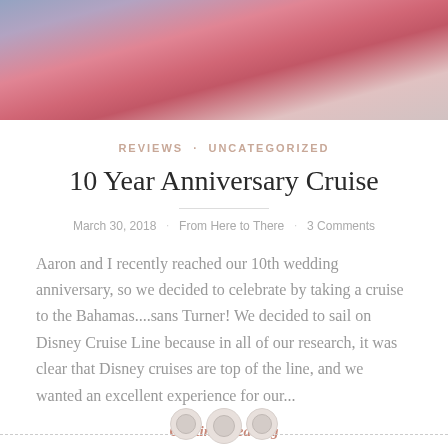[Figure (photo): Photo of two people outdoors, cropped showing upper bodies, one in a gray hoodie and one in a pink/red top]
REVIEWS · UNCATEGORIZED
10 Year Anniversary Cruise
March 30, 2018 · From Here to There · 3 Comments
Aaron and I recently reached our 10th wedding anniversary, so we decided to celebrate by taking a cruise to the Bahamas....sans Turner! We decided to sail on Disney Cruise Line because in all of our research, it was clear that Disney cruises are top of the line, and we wanted an excellent experience for our...
Continue reading